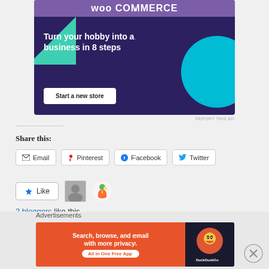[Figure (illustration): WooCommerce advertisement banner with dark purple background, green triangle shape, cyan circle, white bold text 'Turn your hobby into a business in 8 steps', and a white 'Start a new store' button]
REPORT THIS AD
Share this:
Email  Pinterest  Facebook  Twitter
Like  [avatar images]  2 bloggers like this.
Advertisements
[Figure (illustration): DuckDuckGo advertisement banner: orange section with text 'Search, browse, and email with more privacy. All in One Free App' and dark section with DuckDuckGo duck logo]